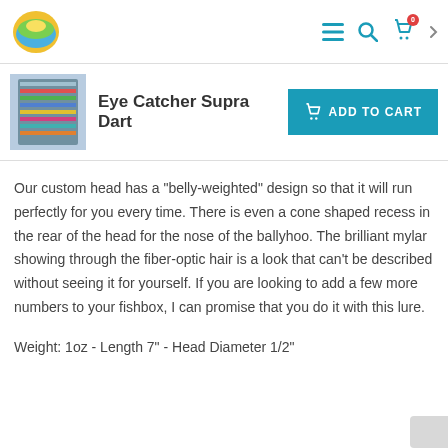Eye Catcher Supra Dart - ADD TO CART
[Figure (photo): Thumbnail photo of fishing lure display rack with multiple colored lures]
Eye Catcher Supra Dart
Our custom head has a "belly-weighted" design so that it will run perfectly for you every time. There is even a cone shaped recess in the rear of the head for the nose of the ballyhoo. The brilliant mylar showing through the fiber-optic hair is a look that can't be described without seeing it for yourself. If you are looking to add a few more numbers to your fishbox, I can promise that you do it with this lure.
Weight: 1oz - Length 7" - Head Diameter 1/2"